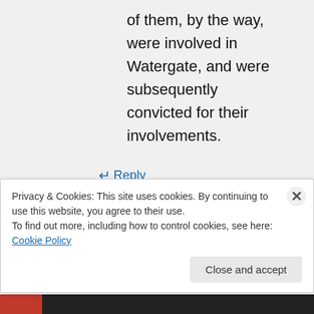of them, by the way, were involved in Watergate, and were subsequently convicted for their involvements.
↵ Reply
Privacy & Cookies: This site uses cookies. By continuing to use this website, you agree to their use. To find out more, including how to control cookies, see here: Cookie Policy
Close and accept